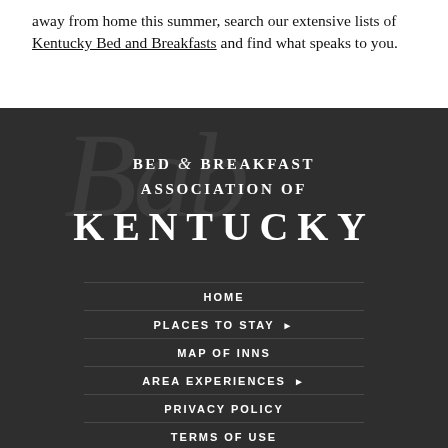away from home this summer, search our extensive lists of Kentucky Bed and Breakfasts and find what speaks to you.
[Figure (logo): Bed & Breakfast Association of Kentucky logo on dark background with decorative script watermark]
HOME
PLACES TO STAY ▶
MAP OF INNS
AREA EXPERIENCES ▶
PRIVACY POLICY
TERMS OF USE